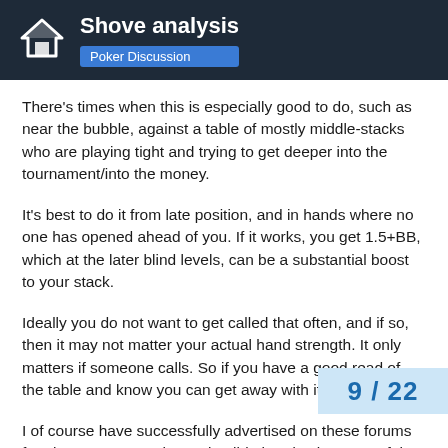Shove analysis — Poker Discussion
There's times when this is especially good to do, such as near the bubble, against a table of mostly middle-stacks who are playing tight and trying to get deeper into the tournament/into the money.
It's best to do it from late position, and in hands where no one has opened ahead of you. If it works, you get 1.5+BB, which at the later blind levels, can be a substantial boost to your stack.
Ideally you do not want to get called that often, and if so, then it may not matter your actual hand strength. It only matters if someone calls. So if you have a good read of the table and know you can get away with it, it's great.
I of course have successfully advertised on these forums for about two years that I win all-in hands about 5% of the time, so it just doesn't work. I get called after the 2nd or 3rd shove, or the 1st if I'm so lucky to have detected the pre table.
9 / 22